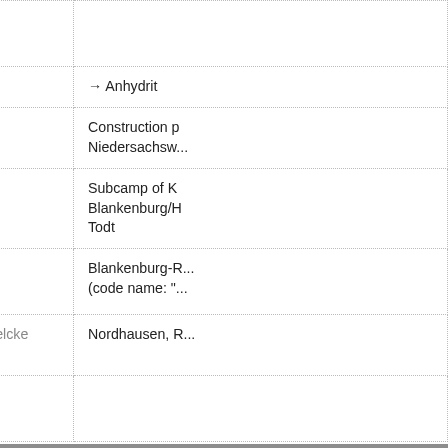|  | B3 | → Anhydrit |
| --- | --- | --- |
|  | B11 | Construction p... Niedersachsw... |
|  | Blankenburg | Subcamp of K... Blankenburg/H... Todt |
|  |  | Blankenburg-R... (code name: "... |
|  | Boelcke-Kaserne (Boelcke Barracks) | Nordhausen, R... |
Diese Webseite verwendet Cookies, um Ihnen den bestmöglichen Service zu gewährleisten. Wenn Sie auf der Seite weitersurfen stimmen Sie der Cookie-Nutzung zu.  Info
Einverstanden